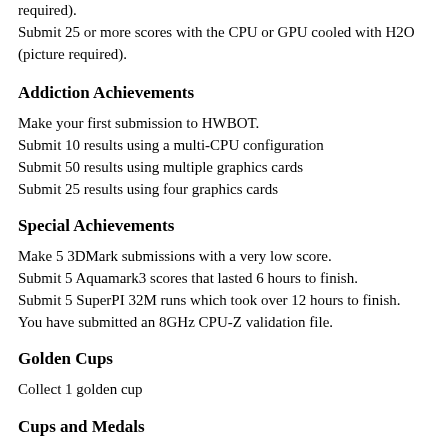required).
Submit 25 or more scores with the CPU or GPU cooled with H2O (picture required).
Addiction Achievements
Make your first submission to HWBOT.
Submit 10 results using a multi-CPU configuration
Submit 50 results using multiple graphics cards
Submit 25 results using four graphics cards
Special Achievements
Make 5 3DMark submissions with a very low score.
Submit 5 Aquamark3 scores that lasted 6 hours to finish.
Submit 5 SuperPI 32M runs which took over 12 hours to finish.
You have submitted an 8GHz CPU-Z validation file.
Golden Cups
Collect 1 golden cup
Cups and Medals
Collect 10 cups and medals